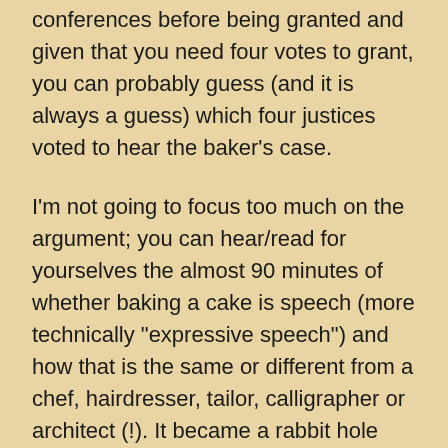You might recall that this case was kicked down 11 conferences before being granted and given that you need four votes to grant, you can probably guess (and it is always a guess) which four justices voted to hear the baker's case.
I'm not going to focus too much on the argument; you can hear/read for yourselves the almost 90 minutes of whether baking a cake is speech (more technically "expressive speech") and how that is the same or different from a chef, hairdresser, tailor, calligrapher or architect (!). It became a rabbit hole down which everyone went.